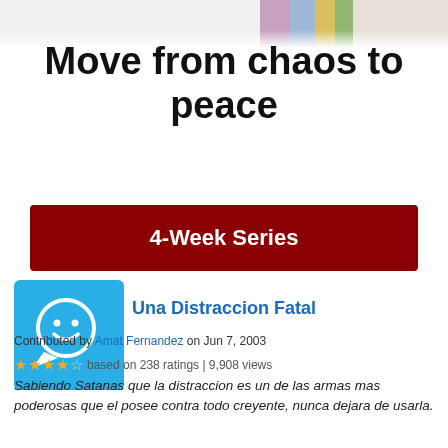[Figure (photo): Top portion of a book or product image clipped at the top of the page]
Move from chaos to peace
4-Week Series
[Figure (illustration): Blue square icon with white speech bubble containing a smiley face]
Una Distraccion Fatal
Contributed by Amat Fernandez on Jun 7, 2003
based on 238 ratings | 9,908 views
Sabiendo Satanas que la distraccion es un de las armas mas poderosas que el posee contra todo creyente, nunca dejara de usarla.